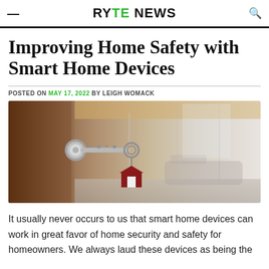RYTE NEWS
Improving Home Safety with Smart Home Devices
POSTED ON MAY 17, 2022 BY LEIGH WOMACK
[Figure (photo): A key with a house-shaped keychain inserted into a door lock, with a blurred interior hallway in the background.]
It usually never occurs to us that smart home devices can work in great favor of home security and safety for homeowners. We always laud these devices as being the